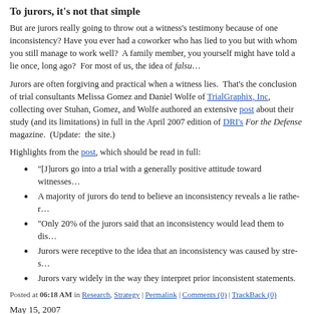To jurors, it's not that simple
But are jurors really going to throw out a witness's testimony because of one incons... worker who has lied to you but with whom you still manage to work well?  A famil... you yourself might have told a lie once, long ago?  For most of us, the idea of falsu...
Jurors are often forgiving and practical when a witness lies.  That's the conclusion o... trial consultants Melissa Gomez and Daniel Wolfe of TrialGraphix, Inc, collecting o... Stuhan, Gomez, and Wolfe authored an extensive post about their study (and its lim... in full in the April 2007 edition of DRI's For the Defense magazine.  (Update:  the ... site.)
Highlights from the post, which should be read in full:
"[J]urors go into a trial with a generally positive attitude toward witnesses...
A majority of jurors do tend to believe an inconsistency reveals a lie rathe...
"Only 20% of the jurors said that an inconsistency would lead them to dis...
Jurors were receptive to the idea that an inconsistency was caused by stre...
Jurors vary widely in the way they interpret prior inconsistent statements.
Posted at 06:18 AM in Research, Strategy | Permalink | Comments (0) | TrackBack (0)
May 15, 2007